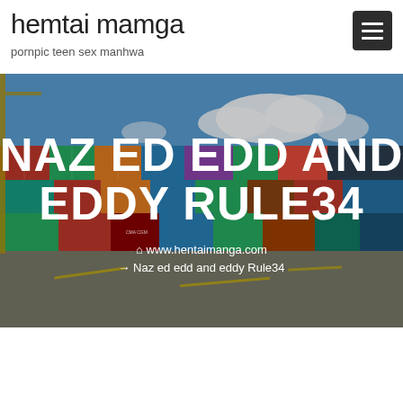hemtai mamga
pornpic teen sex manhwa
[Figure (photo): Background photo of colorful stacked shipping containers at a port with blue sky and clouds, overlaid with large white bold text 'NAZ ED EDD AND EDDY RULE34' and breadcrumb navigation showing 'www.hentaimanga.com → Naz ed edd and eddy Rule34']